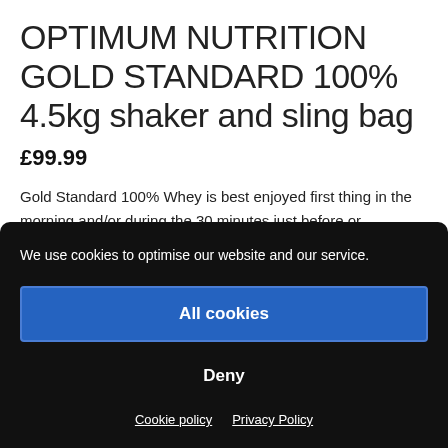OPTIMUM NUTRITION GOLD STANDARD 100% 4.5kg shaker and sling bag
£99.99
Gold Standard 100% Whey is best enjoyed first thing in the morning and/or during the 30 minutes just before or immediately after training. Simply mix one rounded scoop with 6-8 oz (180-240ml) of your favourite beverage in your ON
We use cookies to optimise our website and our service.
All cookies
Deny
Cookie policy
Privacy Policy